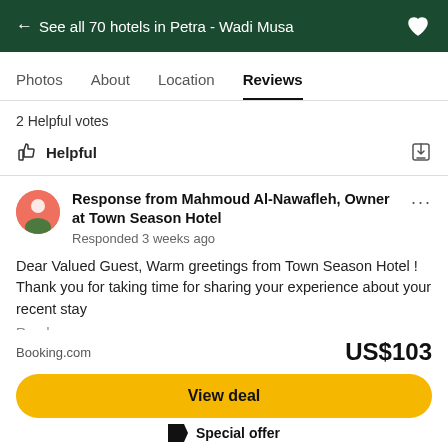← See all 70 hotels in Petra - Wadi Musa
Photos  About  Location  Reviews
2 Helpful votes
Helpful
Response from Mahmoud Al-Nawafleh, Owner at Town Season Hotel
Responded 3 weeks ago
Dear Valued Guest, Warm greetings from Town Season Hotel ! Thank you for taking time for sharing your experience about your recent stay
Read more
Booking.com   US$103
View deal
Special offer